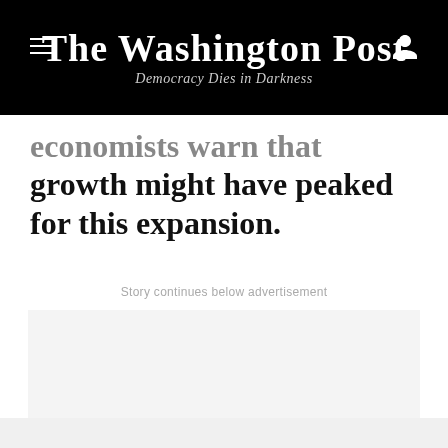The Washington Post — Democracy Dies in Darkness
economists warn that growth might have peaked for this expansion.
Story continues below advertisement
[Figure (other): Advertisement placeholder box (light gray background)]